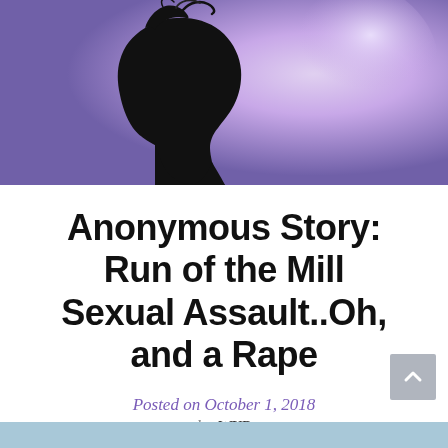[Figure (illustration): Silhouette of a woman's head and shoulders against a purple/lavender background with soft light]
Anonymous Story: Run of the Mill Sexual Assault..Oh, and a Rape
Posted on October 1, 2018
by WYR